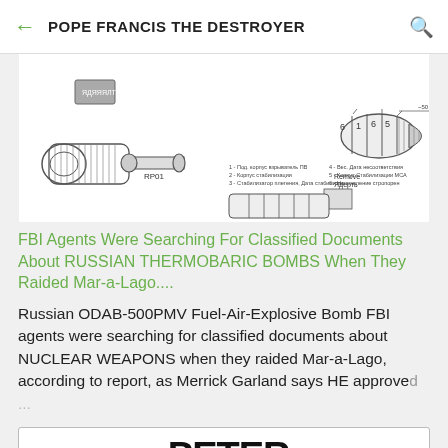POPE FRANCIS THE DESTROYER
[Figure (engineering-diagram): Technical schematic diagram of Russian ODAB-500PMV Fuel-Air-Explosive bomb (thermobaric), showing cross-section and labeled components. Labels include RP01, RP03, and Cyrillic text annotations with numbered parts 1-6.]
FBI Agents Were Searching For Classified Documents About RUSSIAN THERMOBARIC BOMBS When They Raided Mar-a-Lago....
Russian ODAB-500PMV Fuel-Air-Explosive Bomb FBI agents were searching for classified documents about NUCLEAR WEAPONS when they raided Mar-a-Lago, according to report, as Merrick Garland says HE approved ...
[Figure (logo): OnePeter5 logo with stylized text 'PETER' in large bold black letters, superscript '5' in red, small 'ONE' text in gray above-left, and partial circle arc below.]